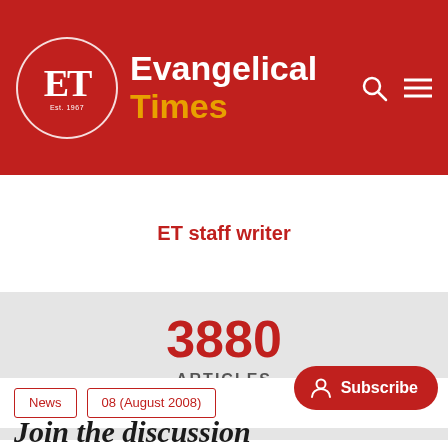Evangelical Times
ET staff writer
3880 ARTICLES View All
News
08 (August 2008)
Subscribe
Join the discussion